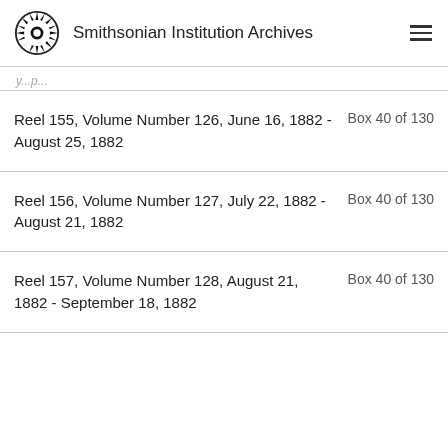Smithsonian Institution Archives
...y...p...
Reel 155, Volume Number 126, June 16, 1882 - August 25, 1882   Box 40 of 130
Reel 156, Volume Number 127, July 22, 1882 - August 21, 1882   Box 40 of 130
Reel 157, Volume Number 128, August 21, 1882 - September 18, 1882   Box 40 of 130